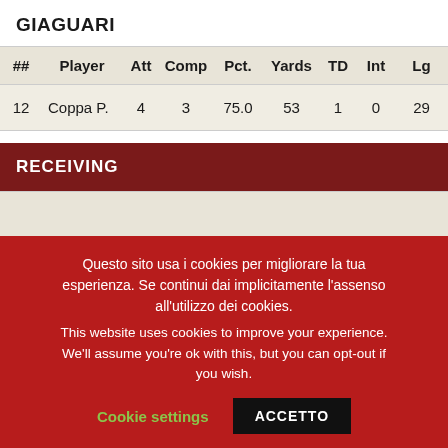GIAGUARI
| ## | Player | Att | Comp | Pct. | Yards | TD | Int | Lg |
| --- | --- | --- | --- | --- | --- | --- | --- | --- |
| 12 | Coppa P. | 4 | 3 | 75.0 | 53 | 1 | 0 | 29 |
RECEIVING
Questo sito usa i cookies per migliorare la tua esperienza. Se continui dai implicitamente l'assenso all'utilizzo dei cookies.
This website uses cookies to improve your experience. We'll assume you're ok with this, but you can opt-out if you wish. Cookie settings ACCETTO